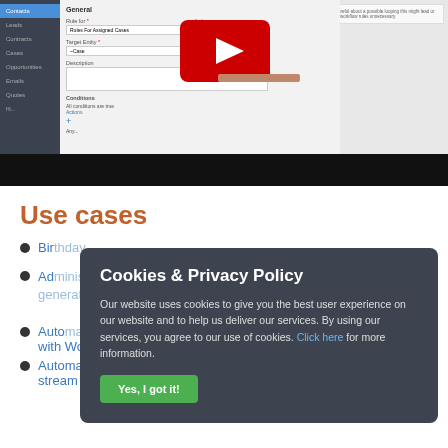[Figure (screenshot): Screenshot of a web application interface showing a workflow/automation settings form with a sidebar navigation, form fields including 'Rules for Assigned Cases', a YouTube video player overlay with a red play button, a progress/seek bar, and a conditions section below. A black bar runs along the bottom of the screenshot area.]
Use cases
Birthday...
Administer survey / lead generation or Workflows
Automated Email-to-Lead with Workflows
Automatic posting to stream with
Cookies & Privacy Policy

Our website uses cookies to give you the best user experience on our website and to help us deliver our services. By using our services, you agree to our use of cookies. Click here for more information.

Yes, I got it!